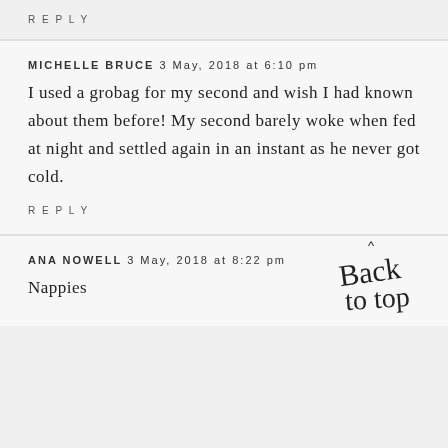REPLY
MICHELLE BRUCE 3 May, 2018 at 6:10 pm
I used a grobag for my second and wish I had known about them before! My second barely woke when fed at night and settled again in an instant as he never got cold.
REPLY
ANA NOWELL 3 May, 2018 at 8:22 pm
Nappies
[Figure (illustration): Handwritten cursive 'Back to top' text with a caret/arrow above it]